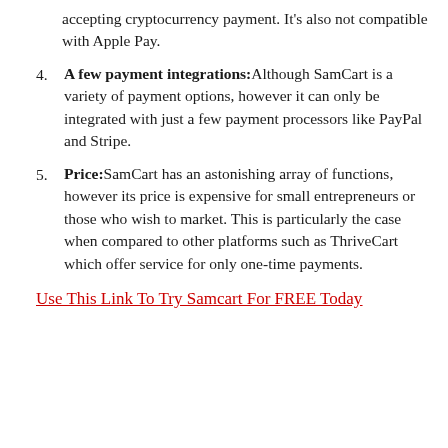accepting cryptocurrency payment. It's also not compatible with Apple Pay.
A few payment integrations: Although SamCart is a variety of payment options, however it can only be integrated with just a few payment processors like PayPal and Stripe.
Price: SamCart has an astonishing array of functions, however its price is expensive for small entrepreneurs or those who wish to market. This is particularly the case when compared to other platforms such as ThriveCart which offer service for only one-time payments.
Use This Link To Try Samcart For FREE Today